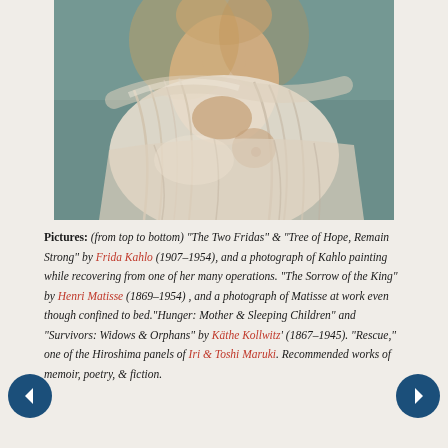[Figure (illustration): A classical painting showing a figure draped in translucent white fabric, partially exposing the torso; painted in warm cream and beige tones against a teal-green background. Appears to be from Frida Kahlo or similar artist.]
Pictures: (from top to bottom) "The Two Fridas" & "Tree of Hope, Remain Strong" by Frida Kahlo (1907-1954), and a photograph of Kahlo painting while recovering from one of her many operations. "The Sorrow of the King" by Henri Matisse (1869-1954) , and a photograph of Matisse at work even though confined to bed."Hunger: Mother & Sleeping Children" and "Survivors: Widows & Orphans" by Käthe Kollwitz' (1867-1945). "Rescue," one of the Hiroshima panels of Iri & Toshi Maruki. Recommended works of memoir, poetry, & fiction.